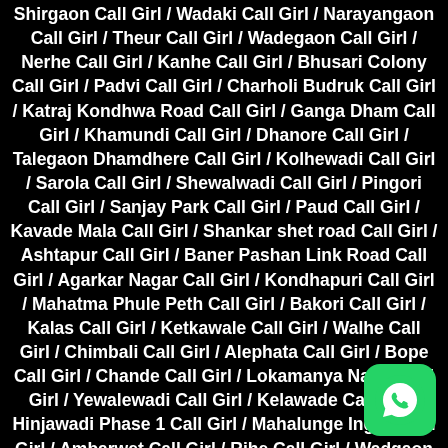Shirgaon Call Girl / Wadaki Call Girl / Narayangaon Call Girl / Theur Call Girl / Wadegaon Call Girl / Nerhe Call Girl / Kanhe Call Girl / Bhusari Colony Call Girl / Padvi Call Girl / Charholi Budruk Call Girl / Katraj Kondhwa Road Call Girl / Ganga Dham Call Girl / Khamundi Call Girl / Dhanore Call Girl / Talegaon Dhamdhere Call Girl / Kolhewadi Call Girl / Sarola Call Girl / Shewalwadi Call Girl / Pingori Call Girl / Sanjay Park Call Girl / Paud Call Girl / Kavade Mala Call Girl / Shankar shet road Call Girl / Ashtapur Call Girl / Baner Pashan Link Road Call Girl / Agarkar Nagar Call Girl / Kondhapuri Call Girl / Mahatma Phule Peth Call Girl / Bakori Call Girl / Kalas Call Girl / Ketkawale Call Girl / Walhe Call Girl / Chimbali Call Girl / Alephata Call Girl / Bope Call Girl / Chande Call Girl / Lokamanya Nagar Call Girl / Yewalewadi Call Girl / Kelawade Call Girl / Hinjawadi Phase 1 Call Girl / Mahalunge Ingale Call Girl / Ambarwet Call Girl / Rihe Call Girl / Wadgaon Budruk Call Girl / Kasar Amboli Call Girl / Kasarsai Call Girl / Bhilarewadi Call Girl / Kesnand Call Girl / Ghotawade Call Girl / Somatne P... Call Girl / Nanekarwadi Call Girl / Awhalwadi Call Gi... Gudhe Call Girl / Malshiras Call Girl / Donaje Call Girl /
[Figure (logo): WhatsApp icon button, green rounded square with white WhatsApp logo, positioned bottom-right corner]